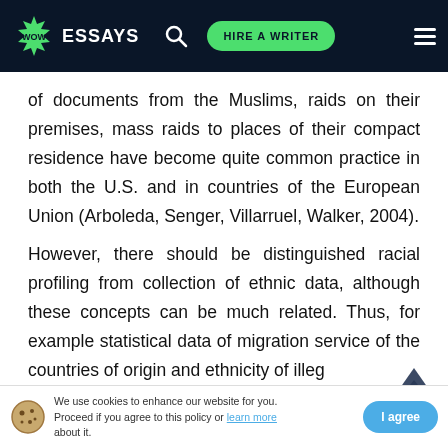WOW ESSAYS — HIRE A WRITER
of documents from the Muslims, raids on their premises, mass raids to places of their compact residence have become quite common practice in both the U.S. and in countries of the European Union (Arboleda, Senger, Villarruel, Walker, 2004).
However, there should be distinguished racial profiling from collection of ethnic data, although these concepts can be much related. Thus, for example statistical data of migration service of the countries of origin and ethnicity of illegal immigrants can be used by police to pay m...
We use cookies to enhance our website for you. Proceed if you agree to this policy or learn more about it. I agree